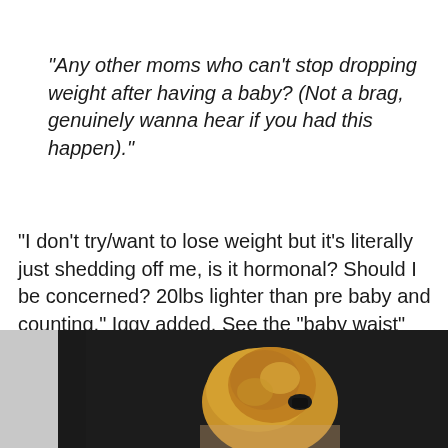“Any other moms who can’t stop dropping weight after having a baby? (Not a brag, genuinely wanna hear if you had this happen).”
“I don’t try/want to lose weight but it’s literally just shedding off me, is it hormonal? Should I be concerned? 20lbs lighter than pre baby and counting,” Iggy added. See the “baby waist” after the baby shot!
[Figure (photo): Bottom portion of a photo showing a person with blonde hair in an updo, photographed from behind/side, with dark background and partial light architectural element on the left.]